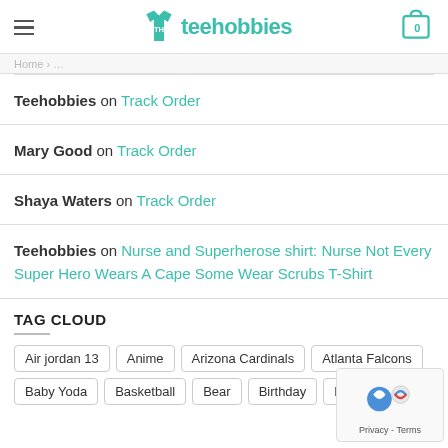teehobbies
Teehobbies on Track Order
Mary Good on Track Order
Shaya Waters on Track Order
Teehobbies on Nurse and Superherose shirt: Nurse Not Every Super Hero Wears A Cape Some Wear Scrubs T-Shirt
TAG CLOUD
Air jordan 13
Anime
Arizona Cardinals
Atlanta Falcons
Baby Yoda
Basketball
Bear
Birthday
Buckeyes